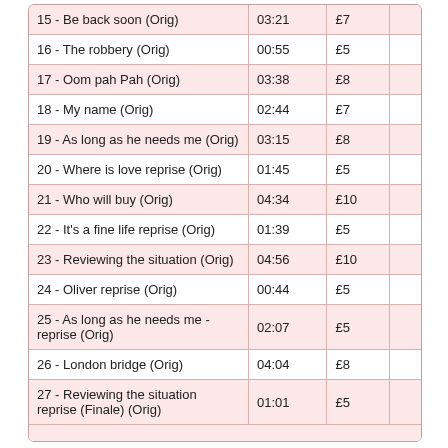| Track | Duration |  | Price |
| --- | --- | --- | --- |
| 15 - Be back soon (Orig) | 03:21 |  | £7 |
| 16 - The robbery (Orig) | 00:55 |  | £5 |
| 17 - Oom pah Pah (Orig) | 03:38 |  | £8 |
| 18 - My name (Orig) | 02:44 |  | £7 |
| 19 - As long as he needs me (Orig) | 03:15 |  | £8 |
| 20 - Where is love reprise (Orig) | 01:45 |  | £5 |
| 21 - Who will buy (Orig) | 04:34 |  | £10 |
| 22 - It's a fine life reprise (Orig) | 01:39 |  | £5 |
| 23 - Reviewing the situation (Orig) | 04:56 |  | £10 |
| 24 - Oliver reprise (Orig) | 00:44 |  | £5 |
| 25 - As long as he needs me - reprise (Orig) | 02:07 |  | £5 |
| 26 - London bridge (Orig) | 04:04 |  | £8 |
| 27 - Reviewing the situation reprise (Finale) (Orig) | 01:01 |  | £5 |